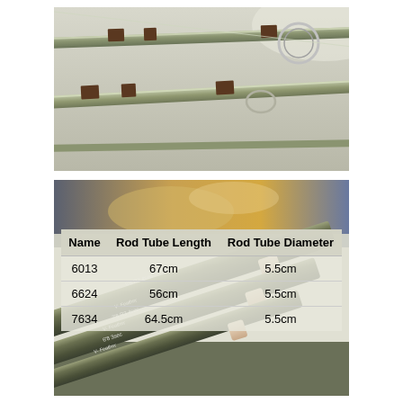[Figure (photo): Close-up photo of fishing rod sections with metallic green finish, brown wrappings, and a guide ring visible against a light background]
[Figure (table-as-image): Specification table embedded in photo showing fishing rod tube dimensions for models 6013, 6624, and 7634]
| Name | Rod Tube Length | Rod Tube Diameter |
| --- | --- | --- |
| 6013 | 67cm | 5.5cm |
| 6624 | 56cm | 5.5cm |
| 7634 | 64.5cm | 5.5cm |
[Figure (photo): Photo of three olive/dark green fishing rod tubes with cream/tan end caps, labeled with model names: 6'6 R2 4sec (V-Feather), 7'6 R3 4sec (V-Feather), and 6'8 3sec (V-Feather)]